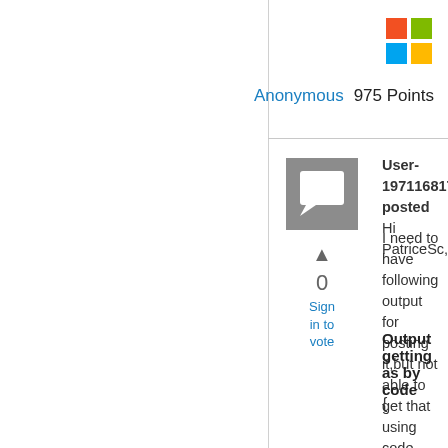[Figure (logo): Microsoft logo - four colored squares (red, green, blue, yellow) in 2x2 grid]
Anonymous  975 Points
[Figure (illustration): Gray avatar/profile placeholder box with chat bubble icon]
▲
0
Sign in to vote
User-1971168174 posted
Hi PatriceSc,

I need to have following output for posting it,but not able to get that using code sample below:
Output getting as by code
{